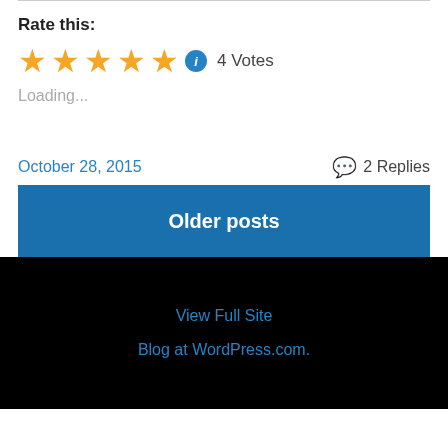Rate this:
[Figure (other): Five gold star rating icons followed by a blue info icon and text '4 Votes']
Loading...
October 28, 2015
2 Replies
Older posts
View Full Site
Blog at WordPress.com.